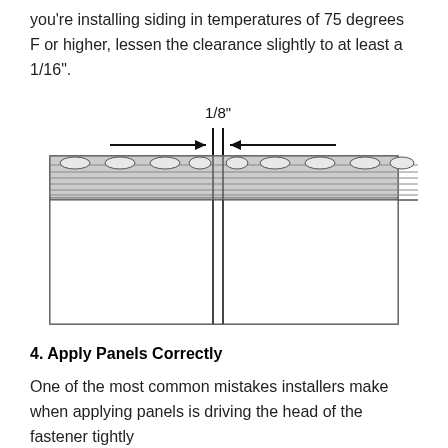you're installing siding in temperatures of 75 degrees F or higher, lessen the clearance slightly to at least a 1/16".
[Figure (engineering-diagram): Diagram showing two siding panels meeting with a 1/8" gap at the joint. Arrows point inward from left and right indicating the 1/8" measurement. The top of the diagram shows the nailing hem/flange area with oval slots, and the lower portion shows the panel face below. A vertical gap line runs through the center.]
4. Apply Panels Correctly
One of the most common mistakes installers make when applying panels is driving the head of the fastener tightly against the siding. Allow approximately a 1/32" gap between